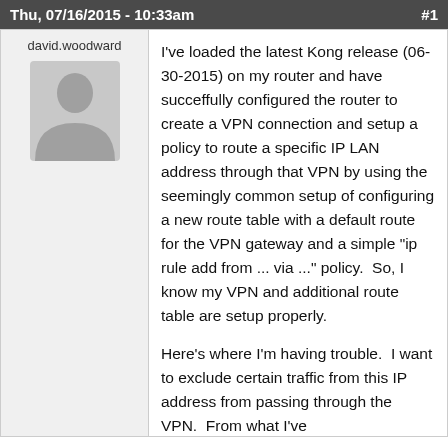Thu, 07/16/2015 - 10:33am  #1
david.woodward
[Figure (illustration): Generic user avatar silhouette in gray]
I've loaded the latest Kong release (06-30-2015) on my router and have succeffully configured the router to create a VPN connection and setup a policy to route a specific IP LAN address through that VPN by using the seemingly common setup of configuring a new route table with a default route for the VPN gateway and a simple "ip rule add from ... via ..." policy.  So, I know my VPN and additional route table are setup properly.
Here's where I'm having trouble.  I want to exclude certain traffic from this IP address from passing through the VPN.  From what I've